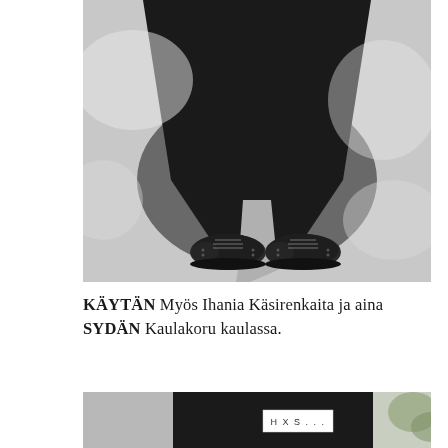[Figure (photo): Top-down view of person wearing a long black skirt/coat and dark lace-up oxford shoes, standing on a grey pavement surface with sunlight creating shadows.]
KÄYTÄN Myös Ihania Käsirenkaita ja aina SYDÄN Kaulakoru kaulassa.
[Figure (photo): Partial view of person wearing black clothing, with a small white label reading 'HXS...' visible on the garment.]